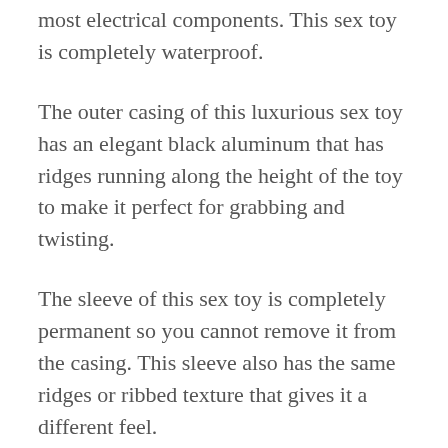most electrical components. This sex toy is completely waterproof.
The outer casing of this luxurious sex toy has an elegant black aluminum that has ridges running along the height of the toy to make it perfect for grabbing and twisting.
The sleeve of this sex toy is completely permanent so you cannot remove it from the casing. This sleeve also has the same ridges or ribbed texture that gives it a different feel.
The casing also has a small glass window with a translucent view. You will see the interior of the sex toy but you are not going